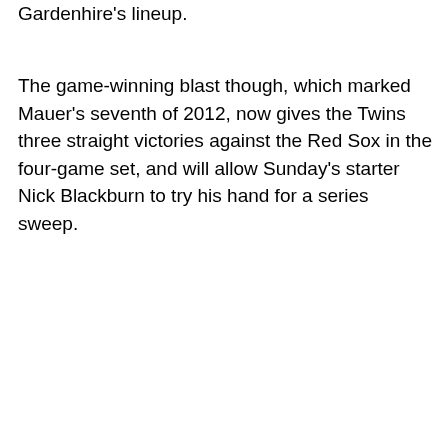Gardenhire's lineup.
The game-winning blast though, which marked Mauer's seventh of 2012, now gives the Twins three straight victories against the Red Sox in the four-game set, and will allow Sunday's starter Nick Blackburn to try his hand for a series sweep.